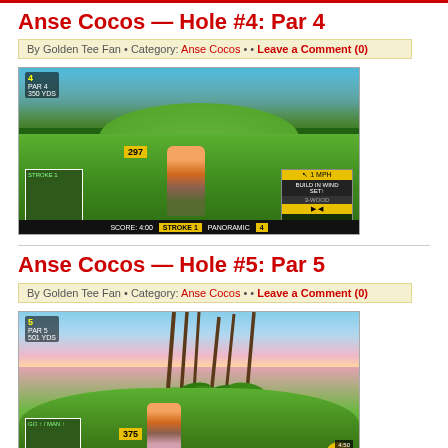Anse Cocos — Hole #4: Par 4
By Golden Tee Fan • Category: Anse Cocos • • Leave a Comment (0)
[Figure (screenshot): Golden Tee golf video game screenshot showing Hole #4 at Anse Cocos, a Par 4. Green fairway with golfer mid-swing, minimap in lower left, HUD elements including yardage indicator, and game interface at bottom.]
Anse Cocos — Hole #5: Par 5
By Golden Tee Fan • Category: Anse Cocos • • Leave a Comment (0)
[Figure (screenshot): Golden Tee golf video game screenshot showing Hole #5 at Anse Cocos, a Par 5. Sunset sky with palm trees, green hillside, golfer mid-swing, minimap in lower left, and HUD elements.]